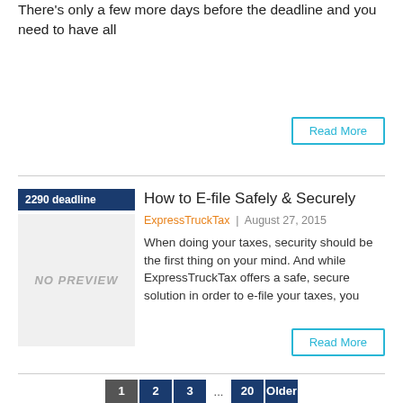There's only a few more days before the deadline and you need to have all
Read More
How to E-file Safely & Securely
ExpressTruckTax | August 27, 2015
[Figure (other): Thumbnail image area with dark blue '2290 deadline' label and 'NO PREVIEW' placeholder]
When doing your taxes, security should be the first thing on your mind. And while ExpressTruckTax offers a safe, secure solution in order to e-file your taxes, you
Read More
1  2  3  ...  20  Older